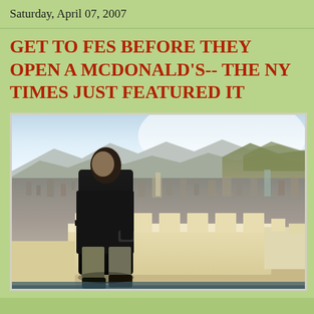Saturday, April 07, 2007
GET TO FES BEFORE THEY OPEN A MCDONALD'S-- THE NY TIMES JUST FEATURED IT
[Figure (photo): A person in dark clothing leaning against a cream-colored stone wall or parapet on a rooftop or elevated viewpoint, with a panoramic view of the city of Fes, Morocco in the background, mountains visible in the distance under a bright sky.]